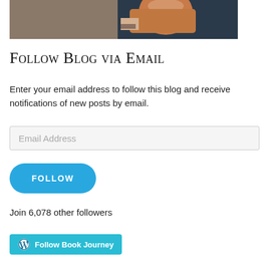[Figure (photo): Partial photo of a person holding an orange/clay mug outdoors, wearing a dark shirt and watch, with ground/grass visible in background — top portion of the image visible]
Follow Blog via Email
Enter your email address to follow this blog and receive notifications of new posts by email.
Email Address
FOLLOW
Join 6,078 other followers
Follow Book Journey